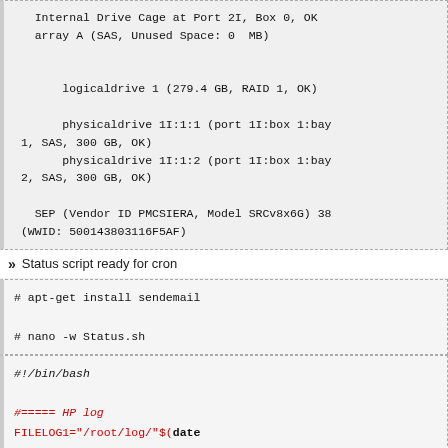Internal Drive Cage at Port 2I, Box 0, OK
    array A (SAS, Unused Space: 0  MB)

        logicaldrive 1 (279.4 GB, RAID 1, OK)

        physicaldrive 1I:1:1 (port 1I:box 1:bay 1, SAS, 300 GB, OK)
        physicaldrive 1I:1:2 (port 1I:box 1:bay 2, SAS, 300 GB, OK)

    SEP (Vendor ID PMCSIERA, Model SRCv8x6G) 38
(WWID: 500143803116F5AF)
>> Status script ready for cron
# apt-get install sendemail

# nano -w Status.sh
#!/bin/bash

#===== HP log
FILELOG1="/root/log/"$(date